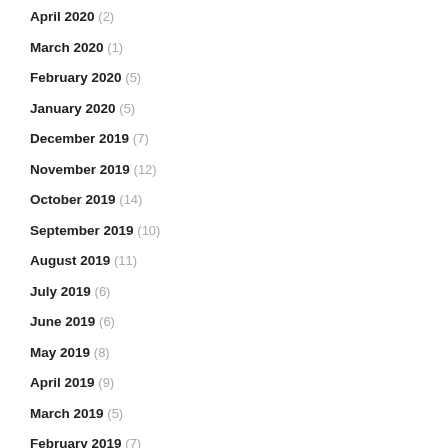April 2020 (2)
March 2020 (1)
February 2020 (5)
January 2020 (5)
December 2019 (7)
November 2019 (12)
October 2019 (14)
September 2019 (10)
August 2019 (11)
July 2019 (6)
June 2019 (6)
May 2019 (8)
April 2019 (9)
March 2019 (5)
February 2019 (7)